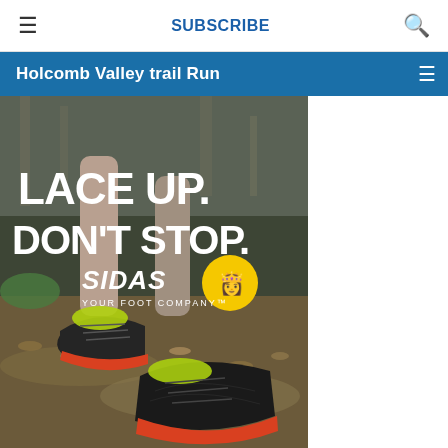≡  SUBSCRIBE  🔍
Holcomb Valley trail Run  ≡
[Figure (photo): Advertisement photo showing a trail runner's legs and shoes in a forest setting, with white bold text 'LACE UP. DON'T STOP.' and SIDAS branding with yellow circular foot logo and tagline 'YOUR FOOT COMPANY'. Trail shoes are black with orange and yellow-green accents.]